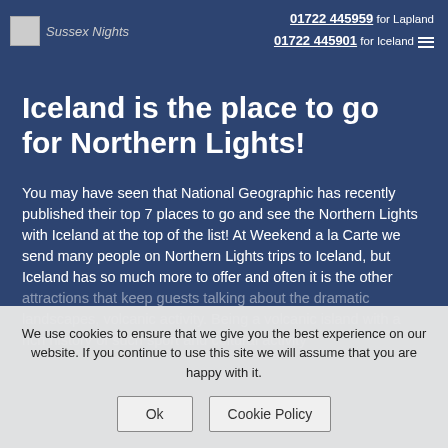[Figure (logo): Sussex Nights logo with small image icon and italic text]
01722 445959 for Lapland
01722 445901 for Iceland
Iceland is the place to go for Northern Lights!
You may have seen that National Geographic has recently published their top 7 places to go and see the Northern Lights with Iceland at the top of the list! At Weekend a la Carte we send many people on Northern Lights trips to Iceland, but Iceland has so much more to offer and often it is the other attractions that keep guests talking about the dramatic landscapes, volcanic activity. Being a volcanic island with a rich history of such sport and cultural activity...
We use cookies to ensure that we give you the best experience on our website. If you continue to use this site we will assume that you are happy with it.